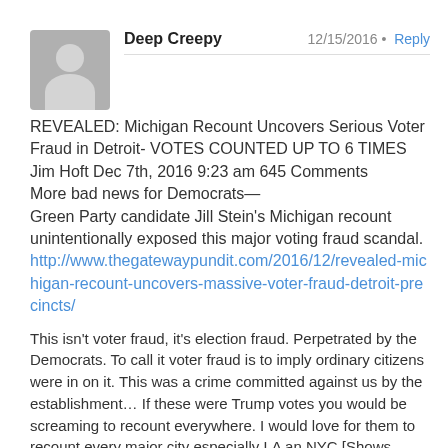[Figure (other): Grey avatar placeholder with silhouette of person (head and shoulders)]
Deep Creepy    12/15/2016 • Reply
REVEALED: Michigan Recount Uncovers Serious Voter Fraud in Detroit- VOTES COUNTED UP TO 6 TIMES
Jim Hoft Dec 7th, 2016 9:23 am 645 Comments
More bad news for Democrats—
Green Party candidate Jill Stein's Michigan recount unintentionally exposed this major voting fraud scandal.
http://www.thegatewaypundit.com/2016/12/revealed-michigan-recount-uncovers-massive-voter-fraud-detroit-precincts/
This isn't voter fraud, it's election fraud. Perpetrated by the Democrats. To call it voter fraud is to imply ordinary citizens were in on it. This was a crime committed against us by the establishment… If these were Trump votes you would be screaming to recount everywhere. I would love for them to recount every major city especially LA an NYC [Shows wisdom of the founding fathers giving us the electoral college, with all the fraud and treachery]. If this is any indication of democrat trickery then i really doubt HRC won the popular vote, especially if you